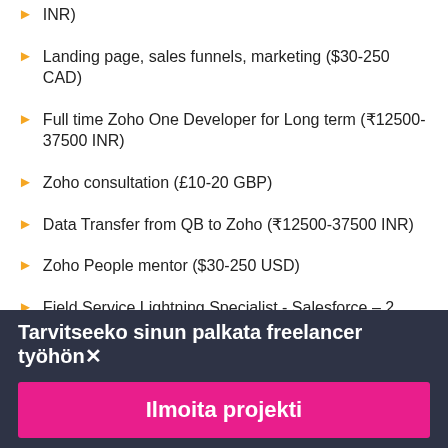INR)
Landing page, sales funnels, marketing ($30-250 CAD)
Full time Zoho One Developer for Long term (₹12500-37500 INR)
Zoho consultation (£10-20 GBP)
Data Transfer from QB to Zoho (₹12500-37500 INR)
Zoho People mentor ($30-250 USD)
Field Service Lightning Specialist - Salesforce – 2 ($30-250 USD)
vCFO / FD / Interim CFO / Accountant (£10-15 GBP / tunti)
Tarvitseeko sinun palkata freelancer työhön✕
Ilmoita projekti